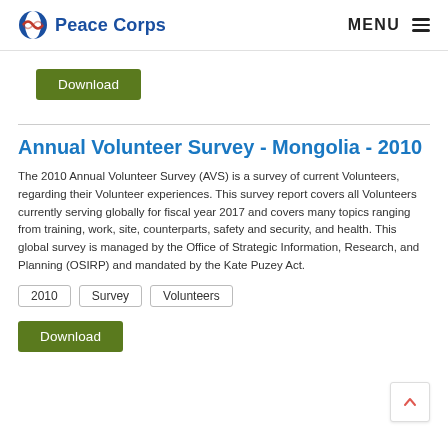Peace Corps | MENU
Download
Annual Volunteer Survey - Mongolia - 2010
The 2010 Annual Volunteer Survey (AVS) is a survey of current Volunteers, regarding their Volunteer experiences. This survey report covers all Volunteers currently serving globally for fiscal year 2017 and covers many topics ranging from training, work, site, counterparts, safety and security, and health. This global survey is managed by the Office of Strategic Information, Research, and Planning (OSIRP) and mandated by the Kate Puzey Act.
2010
Survey
Volunteers
Download